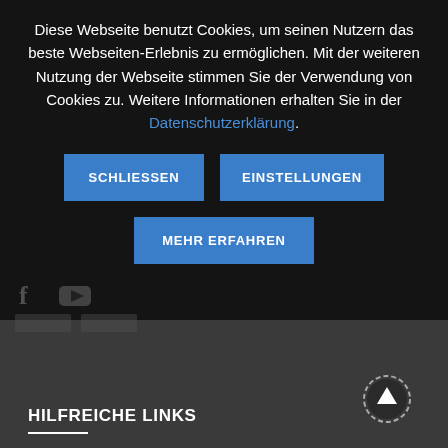Diese Webseite benutzt Cookies, um seinen Nutzern das beste Webseiten-Erlebnis zu ermöglichen. Mit der weiteren Nutzung der Webseite stimmen Sie der Verwendung von Cookies zu. Weitere Informationen erhalten Sie in der Datenschutzerklärung.
SCHLIESSEN
EINSTELLUNGEN
MEHR ERFAHREN
HILFREICHE LINKS